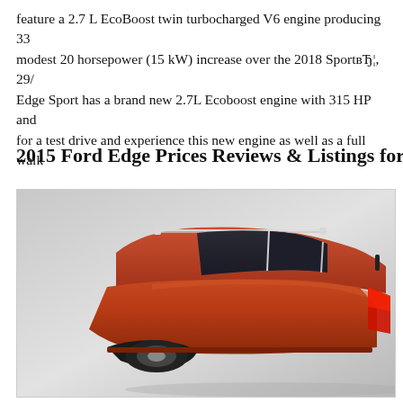feature a 2.7 L EcoBoost twin turbocharged V6 engine producing 33... modest 20 horsepower (15 kW) increase over the 2018 SportвЂ¦, 29/... Edge Sport has a brand new 2.7L Ecoboost engine with 315 HP and ... for a test drive and experience this new engine as well as a full walk...
2015 Ford Edge Prices Reviews & Listings for Sale U...
[Figure (photo): Photo of a red/orange Ford Edge SUV, rear three-quarter view, on a gray gradient background. The car's roofline, rear quarter windows, and tail lights are visible.]